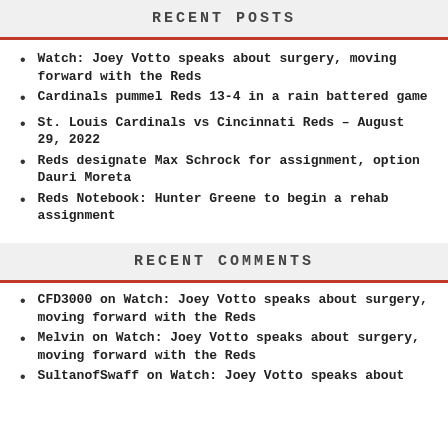RECENT POSTS
Watch: Joey Votto speaks about surgery, moving forward with the Reds
Cardinals pummel Reds 13-4 in a rain battered game
St. Louis Cardinals vs Cincinnati Reds – August 29, 2022
Reds designate Max Schrock for assignment, option Dauri Moreta
Reds Notebook: Hunter Greene to begin a rehab assignment
RECENT COMMENTS
CFD3000 on Watch: Joey Votto speaks about surgery, moving forward with the Reds
Melvin on Watch: Joey Votto speaks about surgery, moving forward with the Reds
SultanofSwaff on Watch: Joey Votto speaks about